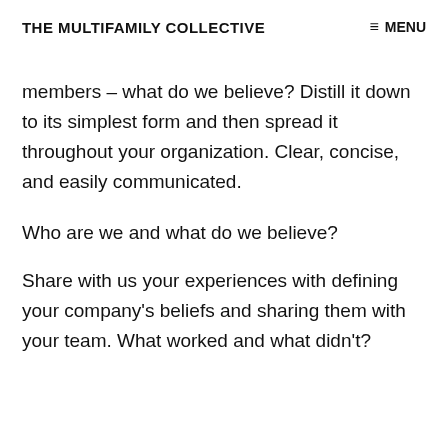THE MULTIFAMILY COLLECTIVE  ≡ MENU
members – what do we believe? Distill it down to its simplest form and then spread it throughout your organization. Clear, concise, and easily communicated.
Who are we and what do we believe?
Share with us your experiences with defining your company's beliefs and sharing them with your team. What worked and what didn't?